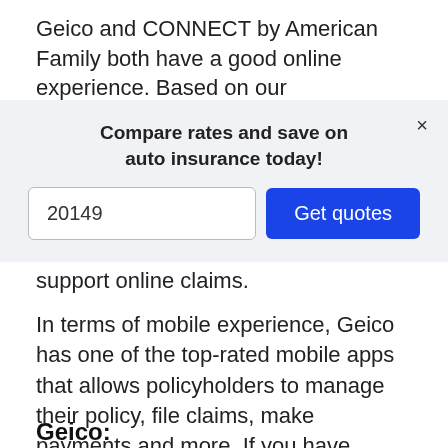Geico and CONNECT by American Family both have a good online experience. Based on our
[Figure (screenshot): Modal popup with title 'Compare rates and save on auto insurance today!', a text input showing '20149', and a blue 'Get quotes' button. A close (×) button is at top right.]
support online claims.
In terms of mobile experience, Geico has one of the top-rated mobile apps that allows policyholders to manage their policy, file claims, make payments and more. If you have Costco insurance, you can only manage your policy online.
Geico: